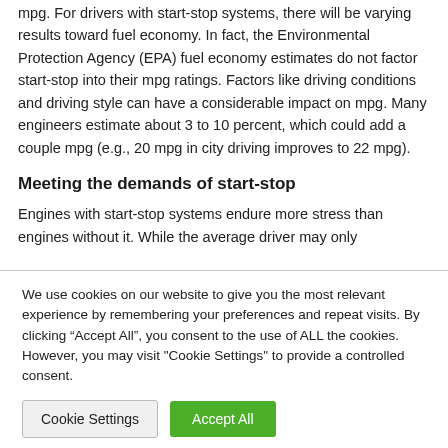mpg. For drivers with start-stop systems, there will be varying results toward fuel economy. In fact, the Environmental Protection Agency (EPA) fuel economy estimates do not factor start-stop into their mpg ratings. Factors like driving conditions and driving style can have a considerable impact on mpg. Many engineers estimate about 3 to 10 percent, which could add a couple mpg (e.g., 20 mpg in city driving improves to 22 mpg).
Meeting the demands of start-stop
Engines with start-stop systems endure more stress than engines without it. While the average driver may only
We use cookies on our website to give you the most relevant experience by remembering your preferences and repeat visits. By clicking "Accept All", you consent to the use of ALL the cookies. However, you may visit "Cookie Settings" to provide a controlled consent.